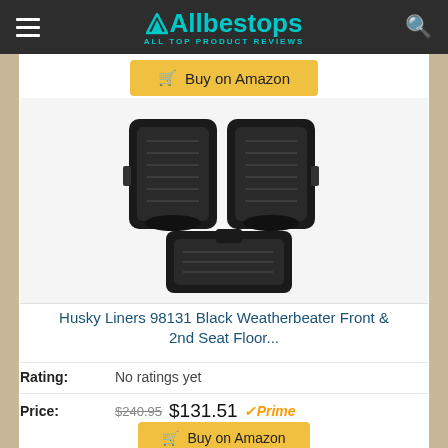Allbestops - ALL TOP PRODUCT REVIEWS
[Figure (photo): Husky Liners 98131 black rubber car floor mats set showing two front mats and one rear mat with raised edges and tread pattern]
Husky Liners 98131 Black Weatherbeater Front & 2nd Seat Floor...
Rating: No ratings yet
Price: $240.95  $131.51 Prime
Buy on Amazon